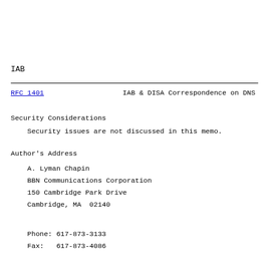IAB
RFC 1401                IAB & DISA Correspondence on DNS
Security Considerations
Security issues are not discussed in this memo.
Author's Address
A. Lyman Chapin
    BBN Communications Corporation
    150 Cambridge Park Drive
    Cambridge, MA  02140
Phone: 617-873-3133
    Fax:   617-873-4086